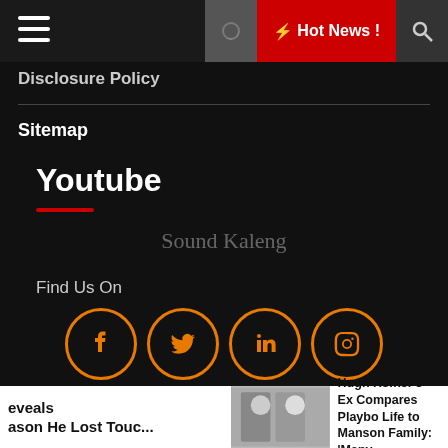Hot News !
Disclosure Policy
Sitemap
Youtube
Sound Kaleng
Find Us On
[Figure (infographic): Four social media icons in orange circles: Facebook, Twitter, LinkedIn, Instagram]
Copyright© 2020 Go Izle. All right reserved Theme: Default Mag by ThemeInWP
eveals ason He Lost Touc...
Hugh Hefner's Ex Compares Playbo Life to Manson Family: 'Many...